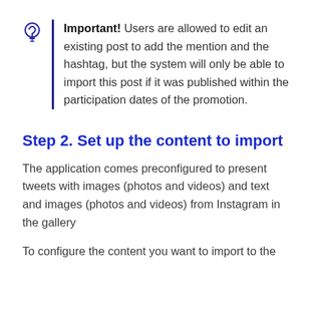Important! Users are allowed to edit an existing post to add the mention and the hashtag, but the system will only be able to import this post if it was published within the participation dates of the promotion.
Step 2. Set up the content to import
The application comes preconfigured to present tweets with images (photos and videos) and text and images (photos and videos) from Instagram in the gallery
To configure the content you want to import to the